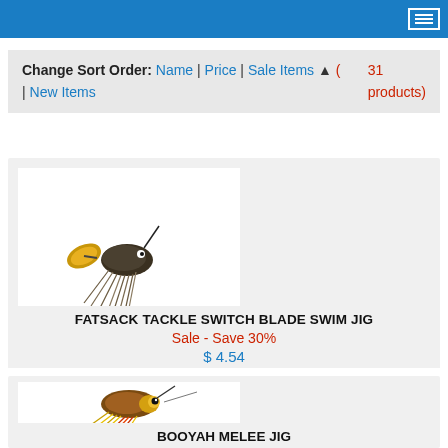Navigation header with hamburger menu
Change Sort Order: Name | Price | Sale Items ▲ (31 products) | New Items
[Figure (photo): Fatsack Tackle Switch Blade Swim Jig fishing lure with gold blade, dark body and rubber skirt]
FATSACK TACKLE SWITCH BLADE SWIM JIG
Sale - Save 30%
$ 4.54
[Figure (photo): Booyah Melee Jig fishing lure with brown/gold body and colorful rubber skirt]
BOOYAH MELEE JIG